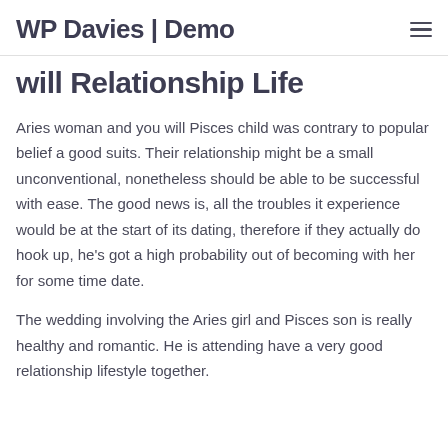WP Davies | Demo
will Relationship Life
Aries woman and you will Pisces child was contrary to popular belief a good suits. Their relationship might be a small unconventional, nonetheless should be able to be successful with ease. The good news is, all the troubles it experience would be at the start of its dating, therefore if they actually do hook up, he’s got a high probability out of becoming with her for some time date.
The wedding involving the Aries girl and Pisces son is really healthy and romantic. He is attending have a very good relationship lifestyle together.